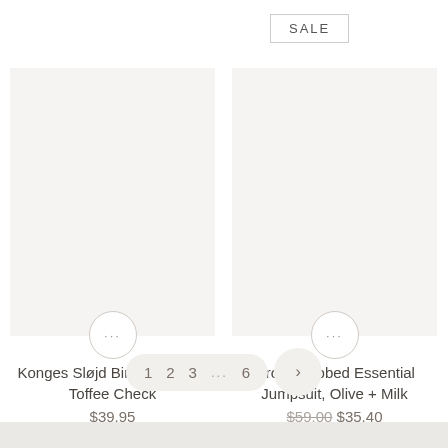SALE
Konges Sløjd Birch Sun Hat, Toffee Check
$39.95
Grown Ribbed Essential Jumpsuit, Olive + Milk
$59.00 $35.40
1  2  3  ...  6  >